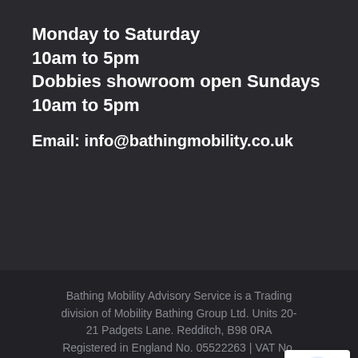Monday to Saturday
10am to 5pm
Dobbies showroom open Sundays 10am to 5pm
Email: info@bathingmobility.co.uk
Bathing Mobility Advisory Service is a Trading division of Mobility Bathing Group Ltd. Units 20-21 Padgets Lane. Redditch, B98 0RA Registered in England No. 05522263 | VAT No. 614212095 | Authorised and regulated by the Finance Conduct Authority.